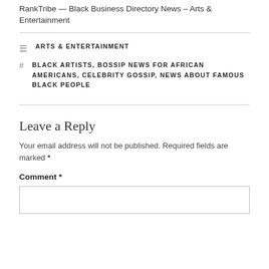RankTribe — Black Business Directory News – Arts & Entertainment
ARTS & ENTERTAINMENT
BLACK ARTISTS, BOSSIP NEWS FOR AFRICAN AMERICANS, CELEBRITY GOSSIP, NEWS ABOUT FAMOUS BLACK PEOPLE
Leave a Reply
Your email address will not be published. Required fields are marked *
Comment *